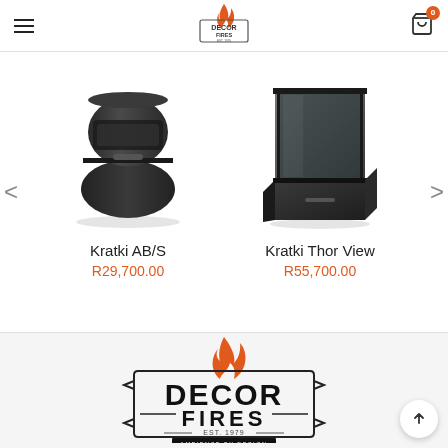Decor Fires navigation header with hamburger menu, logo, and cart (0 items)
[Figure (photo): Kratki AB/S fireplace stove product photo - dark grey cylindrical body]
Kratki AB/S
R29,700.00
[Figure (photo): Kratki Thor View fireplace product photo - dark grey boxy form with glass front]
Kratki Thor View
R55,700.00
[Figure (logo): Decor Fires logo - large black text DECOR FIRES with orange flame icon, EST. 1979, Ambience by Design tagline]